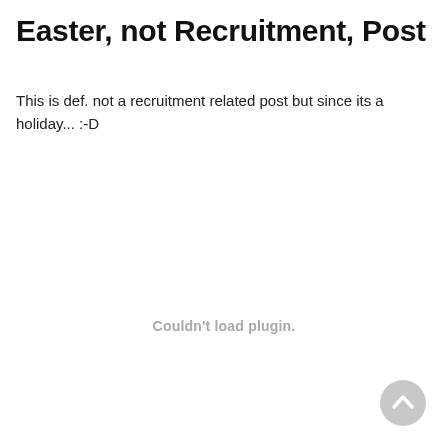Easter, not Recruitment, Post
This is def. not a recruitment related post but since its a holiday... :-D
Couldn't load plugin.
[Figure (other): Scroll-to-top button — a light grey circle with a white upward-pointing chevron/arrow in the bottom-right corner of the page.]